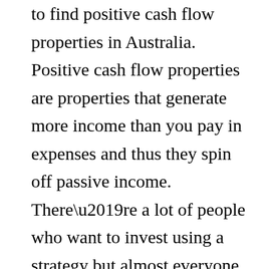to find positive cash flow properties in Australia. Positive cash flow properties are properties that generate more income than you pay in expenses and thus they spin off passive income. There’re a lot of people who want to invest using a strategy but almost everyone gets stuck at the fact that positive Cash Flow properties are difficult to find. So what I do is I fill that gap and I help people find those positive cash flow properties. So how exactly do I make money? I shared in yesterday’s episode about some of the